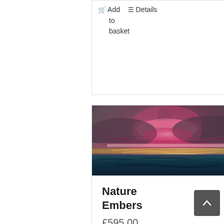Add to basket   Details
[Figure (photo): Abstract painting of a stormy seascape with dramatic pink and magenta clouds, dark teal water, and golden shoreline highlights]
Nature Embers
£595.00
In stock
Add   Details